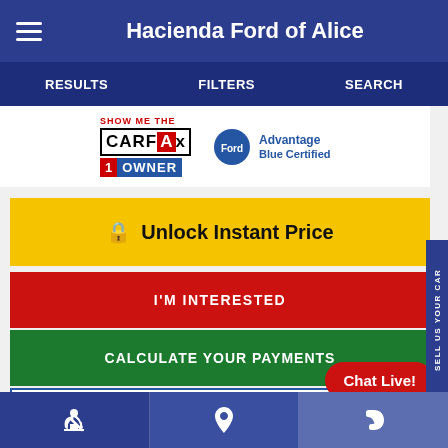Hacienda Ford of Alice
RESULTS    FILTERS    SEARCH
[Figure (logo): CARFAX Show Me The CARFAX 1 Owner logo and Blue Advantage Blue Certified logo]
🔒 Unlock Instant Price
I'M INTERESTED
CALCULATE YOUR PAYMENTS
VALUE YOUR TRADE
Chat Live!
GET PRE-APPROVED
SELL US YOUR CAR